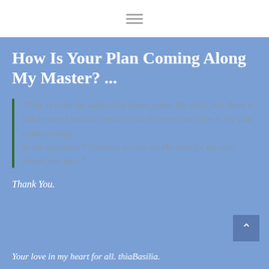[hamburger menu icon]
How Is Your Plan Coming Along My Master? ...
“That is to be the subject for future posts, My child. For there is much more I need to reveal to you for you to see how is My plan coming along. In the meantime? Continue to wait on Me even for the next breath you take.”
Thank You.
Your love in my heart for all. thiaBasilia.